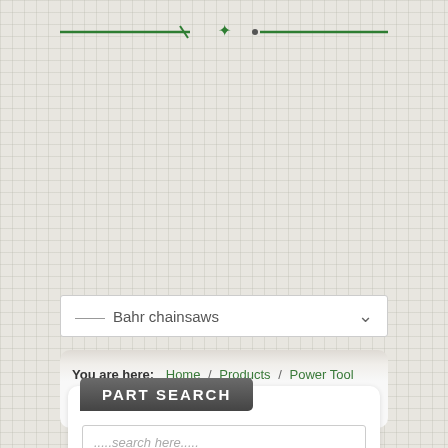[Figure (logo): Green decorative header bar with a small logo/icon in the center on a light textured background]
— Bahr chainsaws ∨
You are here: Home / Products / Power Tool Parts / Chainsaws / Bahr chainsaws
PART SEARCH
.....search here.....
SEARCH